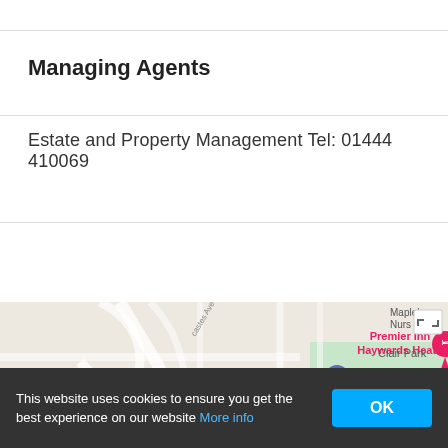Managing Agents
Estate and Property Management Tel: 01444 410069
[Figure (map): Google Map showing Haywards Heath area with Premier Inn Haywards Heath marker, Haywards Heath Jobcentre marker, Clair Park green area, road B2028, and street labels including castes Ave, castes Rd. Map has a fullscreen icon in top-right corner.]
This website uses cookies to ensure you get the best experience on our website More info